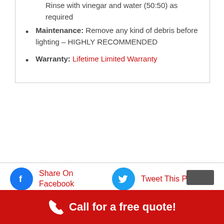Rinse with vinegar and water (50:50) as required
Maintenance: Remove any kind of debris before lighting – HIGHLY RECOMMENDED
Warranty: Lifetime Limited Warranty
Share On Facebook
Tweet This Product
Call for a free quote!